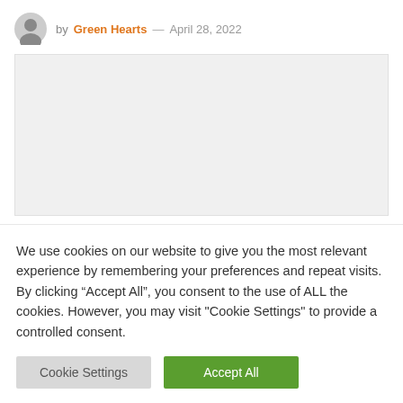by Green Hearts — April 28, 2022
[Figure (other): Gray placeholder image block]
We use cookies on our website to give you the most relevant experience by remembering your preferences and repeat visits. By clicking “Accept All”, you consent to the use of ALL the cookies. However, you may visit "Cookie Settings" to provide a controlled consent.